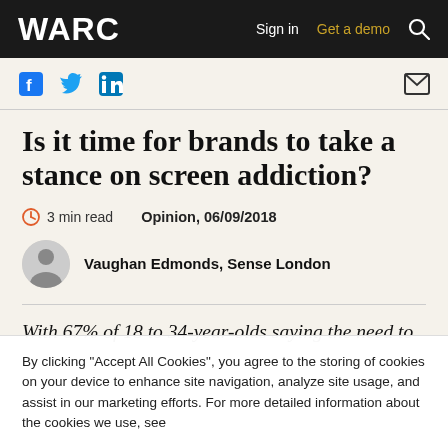WARC  Sign in  Get a demo
Is it time for brands to take a stance on screen addiction?
3 min read   Opinion, 06/09/2018
Vaughan Edmonds, Sense London
With 67% of 18 to 34-year-olds saying the need to
By clicking “Accept All Cookies”, you agree to the storing of cookies on your device to enhance site navigation, analyze site usage, and assist in our marketing efforts. For more detailed information about the cookies we use, see